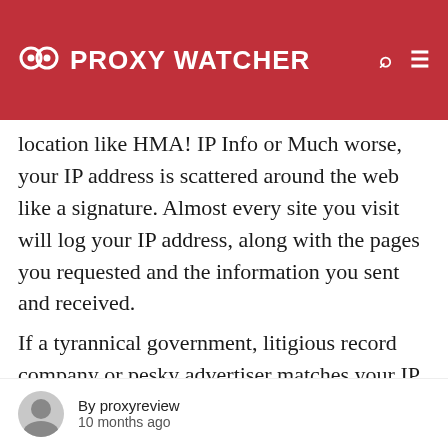PROXY WATCHER
location like HMA! IP Info or Much worse, your IP address is scattered around the web like a signature. Almost every site you visit will log your IP address, along with the pages you requested and the information you sent and received.
If a tyrannical government, litigious record company or pesky advertiser matches your IP address to your actual identity, which is all too easy, it's open season on your online activity. So if you care about internet privacy and
By proxyreview
10 months ago